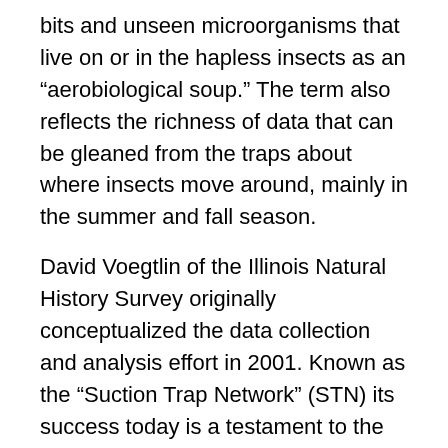bits and unseen microorganisms that live on or in the hapless insects as an “aerobiological soup.” The term also reflects the richness of data that can be gleaned from the traps about where insects move around, mainly in the summer and fall season.
David Voegtlin of the Illinois Natural History Survey originally conceptualized the data collection and analysis effort in 2001. Known as the “Suction Trap Network” (STN) its success today is a testament to the collaboration of participants in multiple states, noted Lagos-Kutz. These include Illinois, Indiana, Iowa, Kansas, Louisiana, Michigan, Minnesota, Missouri, Nebraska and Wisconsin. Support for the STN over the years has been in part provided by the North Central Soybean Research Program and the ARS project, “Integrated Management of Soybean Pathogens and Pests.”